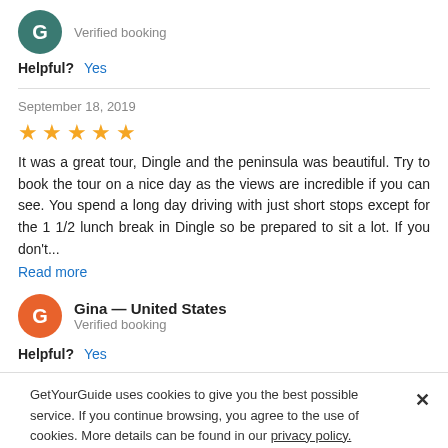[Figure (other): Teal circular avatar with letter G]
Verified booking
Helpful? Yes
September 18, 2019
[Figure (other): Five yellow star rating]
It was a great tour, Dingle and the peninsula was beautiful. Try to book the tour on a nice day as the views are incredible if you can see. You spend a long day driving with just short stops except for the 1 1/2 lunch break in Dingle so be prepared to sit a lot. If you don't...
Read more
[Figure (other): Orange circular avatar with letter G]
Gina — United States
Verified booking
Helpful? Yes
GetYourGuide uses cookies to give you the best possible service. If you continue browsing, you agree to the use of cookies. More details can be found in our privacy policy.